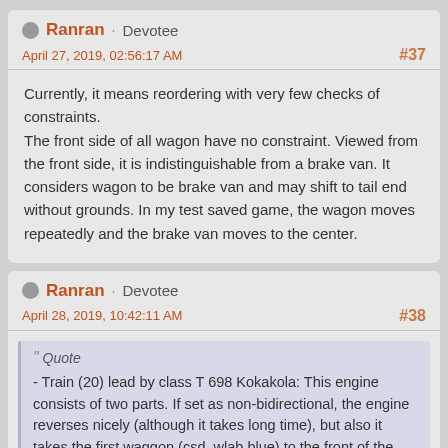Ranran · Devotee
April 27, 2019, 02:56:17 AM
#37
Currently, it means reordering with very few checks of constraints.
The front side of all wagon have no constraint. Viewed from the front side, it is indistinguishable from a brake van. It considers wagon to be brake van and may shift to tail end without grounds. In my test saved game, the wagon moves repeatedly and the brake van moves to the center.
Ranran · Devotee
April 28, 2019, 10:42:11 AM
#38
Quote
- Train (20) lead by class T 698 Kokakola: This engine consists of two parts. If set as non-bidirectional, the engine reverses nicely (although it takes long time), but also it takes the first waggon (csd_wlab blue) to the front of the